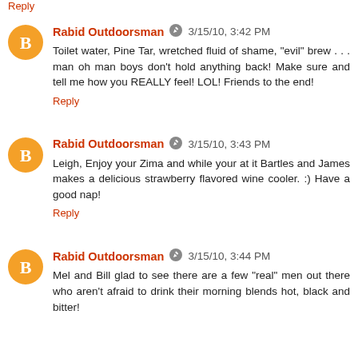Reply
Rabid Outdoorsman 3/15/10, 3:42 PM
Toilet water, Pine Tar, wretched fluid of shame, "evil" brew . . . man oh man boys don't hold anything back! Make sure and tell me how you REALLY feel! LOL! Friends to the end!
Reply
Rabid Outdoorsman 3/15/10, 3:43 PM
Leigh, Enjoy your Zima and while your at it Bartles and James makes a delicious strawberry flavored wine cooler. :) Have a good nap!
Reply
Rabid Outdoorsman 3/15/10, 3:44 PM
Mel and Bill glad to see there are a few "real" men out there who aren't afraid to drink their morning blends hot, black and bitter!